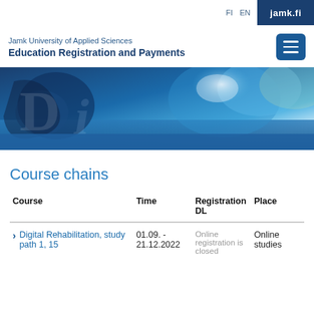FI  EN  jamk.fi
Jamk University of Applied Sciences
Education Registration and Payments
[Figure (photo): Abstract blue and white banner image with blurred shapes and light flares, representing a university course registration page hero image.]
Course chains
| Course | Time | Registration DL | Place |
| --- | --- | --- | --- |
| Digital Rehabilitation, study path 1, 15 | 01.09. - 21.12.2022 | Online registration is closed | Online studies |